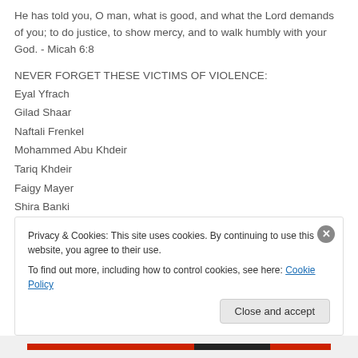He has told you, O man, what is good, and what the Lord demands of you; to do justice, to show mercy, and to walk humbly with your God. - Micah 6:8
NEVER FORGET THESE VICTIMS OF VIOLENCE:
Eyal Yfrach
Gilad Shaar
Naftali Frenkel
Mohammed Abu Khdeir
Tariq Khdeir
Faigy Mayer
Shira Banki
Ali Dawabesh
Privacy & Cookies: This site uses cookies. By continuing to use this website, you agree to their use. To find out more, including how to control cookies, see here: Cookie Policy
Close and accept